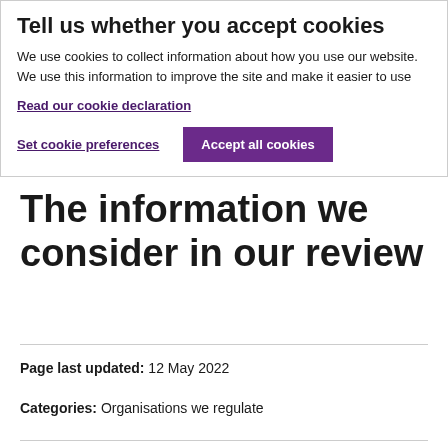Tell us whether you accept cookies
We use cookies to collect information about how you use our website. We use this information to improve the site and make it easier to use
Read our cookie declaration
Set cookie preferences
Accept all cookies
The information we consider in our review
Page last updated: 12 May 2022
Categories: Organisations we regulate